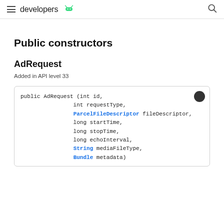developers
Public constructors
AdRequest
Added in API level 33
public AdRequest (int id,
                int requestType,
                ParcelFileDescriptor fileDescriptor,
                long startTime,
                long stopTime,
                long echoInterval,
                String mediaFileType,
                Bundle metadata)